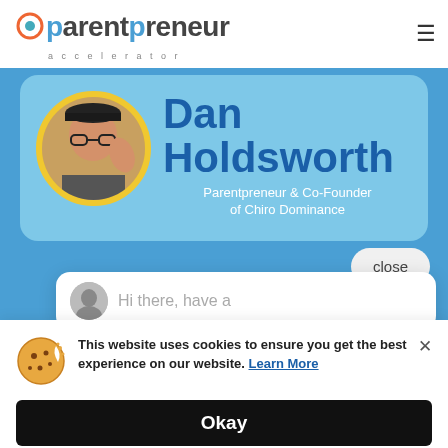[Figure (logo): Parentpreneur Accelerator logo with gear/plant icon and text 'parentpreneur accelerator']
[Figure (photo): Profile card with photo of Dan Holdsworth wearing a black cap and glasses, waving, on yellow circular background. Name reads 'Dan Holdsworth' and subtitle 'Parentpreneur & Co-Founder of Chiro Dominance']
close
[Figure (screenshot): Partial chat bubble with avatar and text 'Hi there, have a']
This website uses cookies to ensure you get the best experience on our website. Learn More
Okay
Powered By: 🍪 ELMatic.co
so much clarity on my